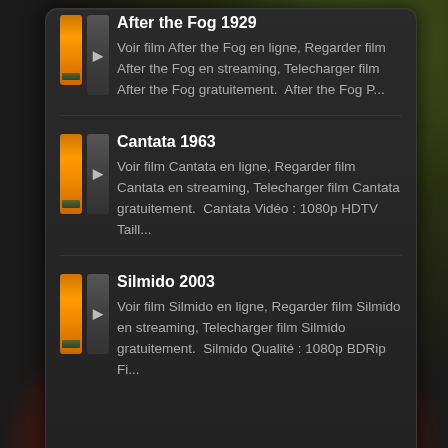After the Fog 1929
Voir film After the Fog en ligne, Regarder film After the Fog en streaming, Telecharger film After the Fog gratuitement.  After the Fog P...
Cantata 1963
Voir film Cantata en ligne, Regarder film Cantata en streaming, Telecharger film Cantata gratuitement.  Cantata Vidéo : 1080p HDTV Taill...
Silmido 2003
Voir film Silmido en ligne, Regarder film Silmido en streaming, Telecharger film Silmido gratuitement.  Silmido Qualité : 1080p BDRip Fi...